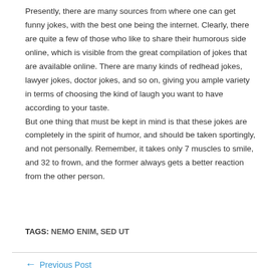Presently, there are many sources from where one can get funny jokes, with the best one being the internet. Clearly, there are quite a few of those who like to share their humorous side online, which is visible from the great compilation of jokes that are available online. There are many kinds of redhead jokes, lawyer jokes, doctor jokes, and so on, giving you ample variety in terms of choosing the kind of laugh you want to have according to your taste. But one thing that must be kept in mind is that these jokes are completely in the spirit of humor, and should be taken sportingly, and not personally. Remember, it takes only 7 muscles to smile, and 32 to frown, and the former always gets a better reaction from the other person.
TAGS: NEMO ENIM, SED UT
← Previous Post